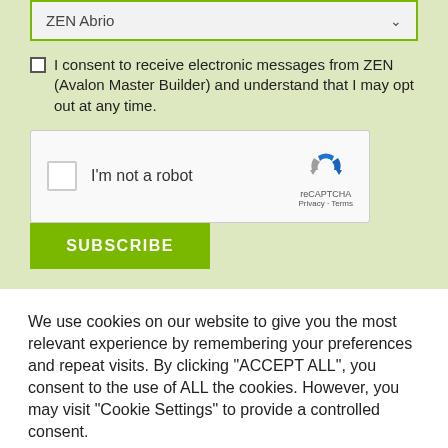ZEN Abrio
I consent to receive electronic messages from ZEN (Avalon Master Builder) and understand that I may opt out at any time.
[Figure (other): reCAPTCHA widget with checkbox labeled 'I'm not a robot' and reCAPTCHA logo with Privacy and Terms links]
SUBSCRIBE
We use cookies on our website to give you the most relevant experience by remembering your preferences and repeat visits. By clicking "ACCEPT ALL", you consent to the use of ALL the cookies. However, you may visit "Cookie Settings" to provide a controlled consent.
Cookie Settings
REJECT ALL
ACCEPT ALL